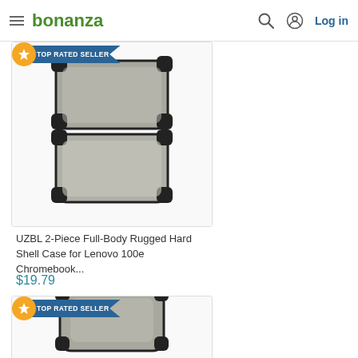bonanza  Log in
[Figure (photo): UZBL 2-Piece Full-Body Rugged Hard Shell Case for Lenovo 100e Chromebook, open case showing top and bottom halves, dark gray/black rugged corners with transparent matte cover, product listing on Bonanza marketplace with TOP RATED SELLER badge]
UZBL 2-Piece Full-Body Rugged Hard Shell Case for Lenovo 100e Chromebook...
$19.79
[Figure (photo): Second product listing showing same or similar UZBL rugged hard shell case, partially visible, with TOP RATED SELLER badge]